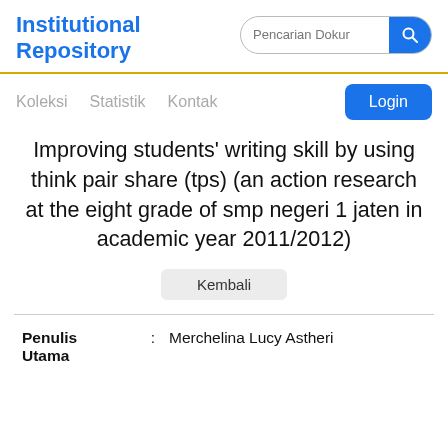Institutional Repository
Improving students' writing skill by using think pair share (tps) (an action research at the eight grade of smp negeri 1 jaten in academic year 2011/2012)
Kembali
| Field |  | Value |
| --- | --- | --- |
| Penulis Utama | : | Merchelina Lucy Astheri |